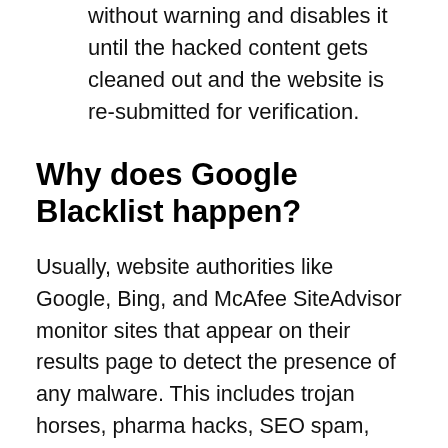without warning and disables it until the hacked content gets cleaned out and the website is re-submitted for verification.
Why does Google Blacklist happen?
Usually, website authorities like Google, Bing, and McAfee SiteAdvisor monitor sites that appear on their results page to detect the presence of any malware. This includes trojan horses, pharma hacks, SEO spam, phishing schemes, etc. Search engines, in their best interests, target such infected sites and refuse to let them be displayed or be